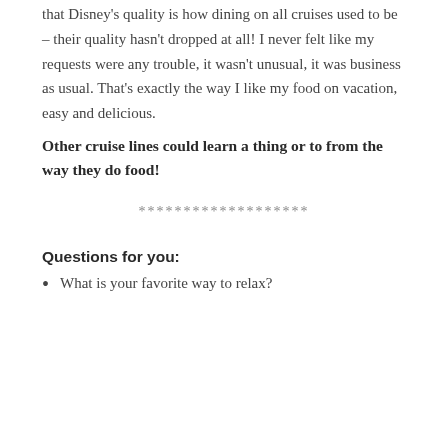that Disney's quality is how dining on all cruises used to be – their quality hasn't dropped at all! I never felt like my requests were any trouble, it wasn't unusual, it was business as usual. That's exactly the way I like my food on vacation, easy and delicious. Other cruise lines could learn a thing or to from the way they do food!
*******************
Questions for you:
What is your favorite way to relax?